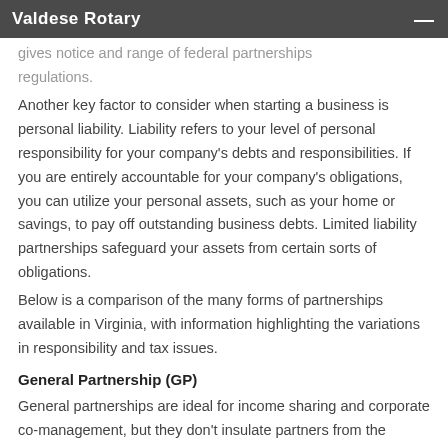Valdese Rotary
gives notice and range of federal partnerships regulations.
Another key factor to consider when starting a business is personal liability. Liability refers to your level of personal responsibility for your company's debts and responsibilities. If you are entirely accountable for your company's obligations, you can utilize your personal assets, such as your home or savings, to pay off outstanding business debts. Limited liability partnerships safeguard your assets from certain sorts of obligations.
Below is a comparison of the many forms of partnerships available in Virginia, with information highlighting the variations in responsibility and tax issues.
General Partnership (GP)
General partnerships are ideal for income sharing and corporate co-management, but they don't insulate partners from the partnerships' obligations. General stakeholders use their personal income tax filings to pay taxes on the